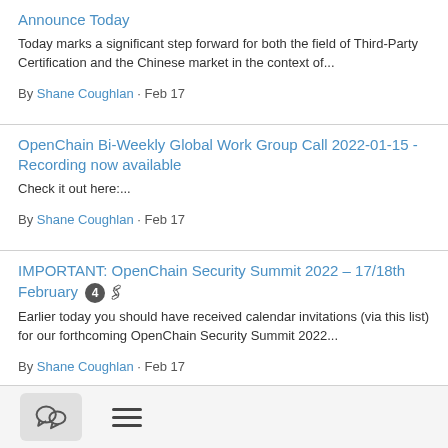Announce Today
Today marks a significant step forward for both the field of Third-Party Certification and the Chinese market in the context of...
By Shane Coughlan · Feb 17
OpenChain Bi-Weekly Global Work Group Call 2022-01-15 - Recording now available
Check it out here:...
By Shane Coughlan · Feb 17
IMPORTANT: OpenChain Security Summit 2022 – 17/18th February 4 [attachment]
Earlier today you should have received calendar invitations (via this list) for our forthcoming OpenChain Security Summit 2022...
By Shane Coughlan · Feb 17
Security Assurance Reference Guide (Specification) 2.0 Draft 3 2022-02-15